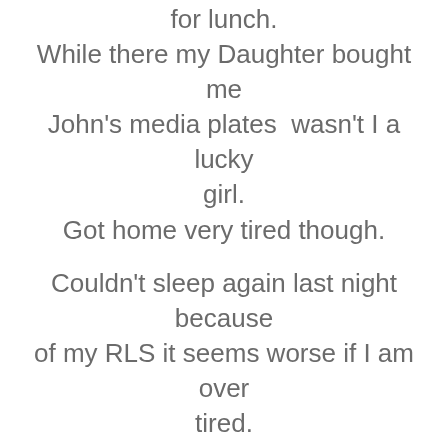for lunch. While there my Daughter bought me John's media plates  wasn't I a lucky girl. Got home very tired though.
Couldn't sleep again last night because of my RLS it seems worse if I am over tired. Didn't get much sleep either Saturday night with the excitement so I expect that was why I was so tired.
So last night I started this card, and finished it today.